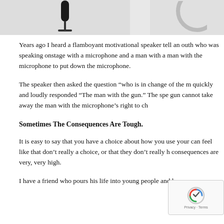[Figure (photo): Top portion of page showing a microphone image on the left (grey/white background) and a partial circular object on the upper right]
Years ago I heard a flamboyant motivational speaker tell an outh who was speaking onstage with a microphone and a man with a man with the microphone to put down the microphone.
The speaker then asked the question “who is in change of the m quickly and loudly responded “The man with the gun.” The spe gun cannot take away the man with the microphone’s right to ch
Sometimes The Consequences Are Tough.
It is easy to say that you have a choice about how you use your can feel like that don’t really a choice, or that they don’t really h consequences are very, very high.
I have a friend who pours his life into young people and he ma